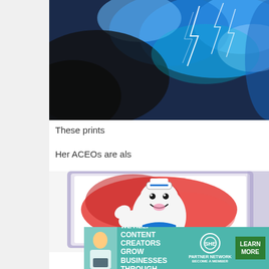[Figure (photo): Watercolor painting of a stormy sky with lightning bolts in blue, black, and white tones]
These prints
Her ACEOs are als
[Figure (photo): Watercolor ACEO card of Stay Puft Marshmallow Man from Ghostbusters with red background, encased in a clear card holder]
[Figure (photo): Advertisement banner: WE HELP CONTENT CREATORS GROW BUSINESSES THROUGH... SHE PARTNER NETWORK BECOME A MEMBER. LEARN MORE button.]